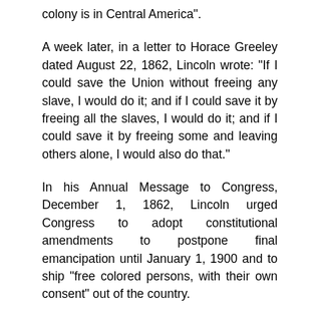colony is in Central America".
A week later, in a letter to Horace Greeley dated August 22, 1862, Lincoln wrote: "If I could save the Union without freeing any slave, I would do it; and if I could save it by freeing all the slaves, I would do it; and if I could save it by freeing some and leaving others alone, I would also do that."
In his Annual Message to Congress, December 1, 1862, Lincoln urged Congress to adopt constitutional amendments to postpone final emancipation until January 1, 1900 and to ship "free colored persons, with their own consent" out of the country.
On February 3, 1865, at the Hampton Roads Conference, Lincoln and Secretary of State, William Seward, met official representatives of the Confederate Government to discuss terms for ending the war. Lincoln supported Seward's proposal that the Southern